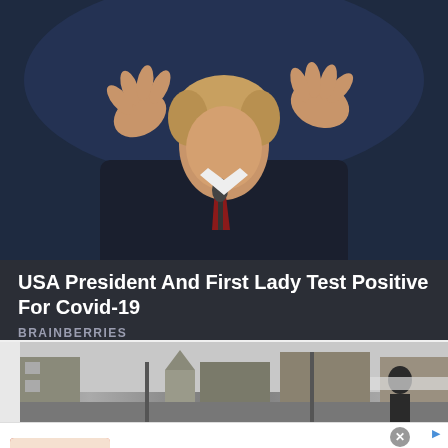[Figure (photo): Photo of a man in a dark suit with raised hands, gesturing, against a dark blue background, at a podium with microphone]
USA President And First Lady Test Positive For Covid-19
BRAINBERRIES
[Figure (photo): Street scene with buildings, church steeple, utility poles, and a person visible on the right side]
[Figure (infographic): Advertisement banner: Get a Taste for Our Gourmet Food & Gift. Chocolate Gifts - Fruit Baskets - Baked Goods. www.1800flowers.com. Shows a gift basket image on the left and a blue arrow button on the right.]